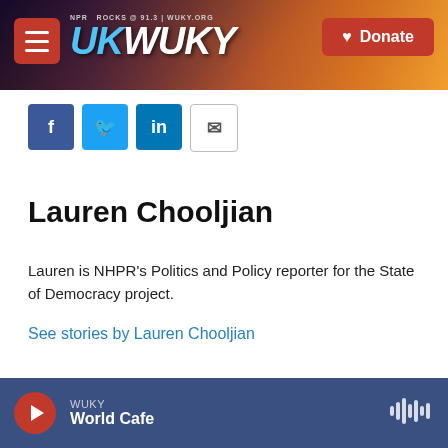[Figure (screenshot): WUKY NPR radio station website header banner with sunset/field background, hamburger menu, WUKY logo, and red Donate button]
[Figure (infographic): Social sharing buttons: Facebook (blue), Twitter (blue), LinkedIn (blue), Email (white/grey)]
Lauren Chooljian
Lauren is NHPR's Politics and Policy reporter for the State of Democracy project.
See stories by Lauren Chooljian
WUKY | World Cafe